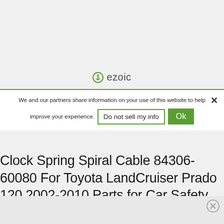[Figure (logo): Ezoic logo with green circular icon and text 'ezoic']
We and our partners share information on your use of this website to help improve your experience.
Do not sell my info
Ok
Clock Spring Spiral Cable 84306-60080 For Toyota LandCruiser Prado 120 2002-2010 Parts for Car Safety Airbags Auto Parts & Accessories, Lower Prices for